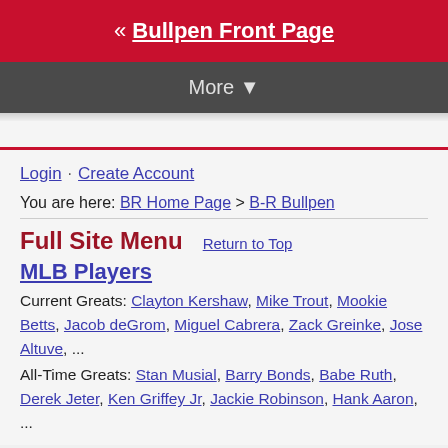« Bullpen Front Page
More ▼
Login · Create Account
You are here: BR Home Page > B-R Bullpen
Full Site Menu   Return to Top
MLB Players
Current Greats: Clayton Kershaw, Mike Trout, Mookie Betts, Jacob deGrom, Miguel Cabrera, Zack Greinke, Jose Altuve, ...
All-Time Greats: Stan Musial, Barry Bonds, Babe Ruth, Derek Jeter, Ken Griffey Jr, Jackie Robinson, Hank Aaron, ...